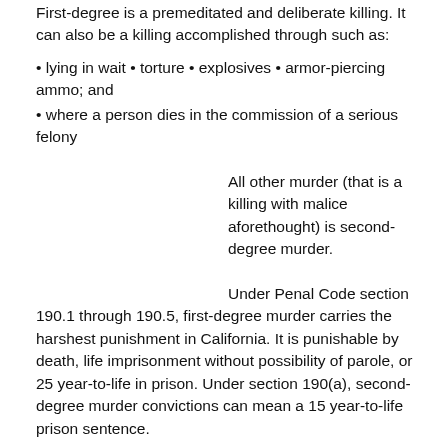First-degree is a premeditated and deliberate killing. It can also be a killing accomplished through such as:
• lying in wait • torture • explosives • armor-piercing ammo; and
• where a person dies in the commission of a serious felony
All other murder (that is a killing with malice aforethought) is second-degree murder.
Under Penal Code section 190.1 through 190.5, first-degree murder carries the harshest punishment in California. It is punishable by death, life imprisonment without possibility of parole, or 25 year-to-life in prison. Under section 190(a), second-degree murder convictions can mean a 15 year-to-life prison sentence.
If you have been charged with first or second-degree murder,